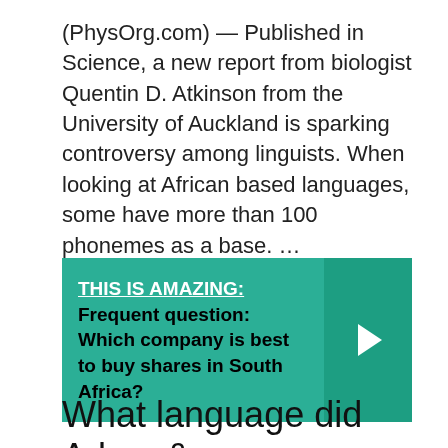(PhysOrg.com) — Published in Science, a new report from biologist Quentin D. Atkinson from the University of Auckland is sparking controversy among linguists. When looking at African based languages, some have more than 100 phonemes as a base. …
[Figure (infographic): Teal banner with bold text 'THIS IS AMAZING: Frequent question: Which company is best to buy shares in South Africa?' with a right-arrow button on the right side.]
What language did Adam & Eve speak?
The Adamic language, according to Jewish tradition (as recorded in the midrashim) and some Christian traditions, is the language spoken by Adam and Eve in the Garden of Eden.